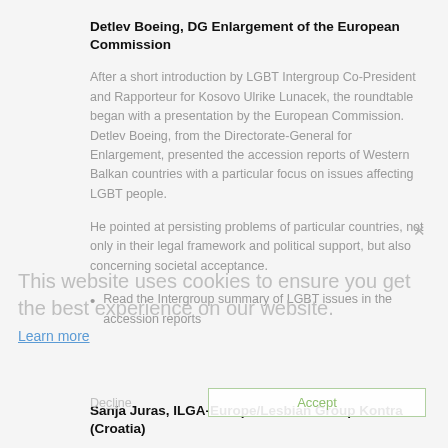Detlev Boeing, DG Enlargement of the European Commission
After a short introduction by LGBT Intergroup Co-President and Rapporteur for Kosovo Ulrike Lunacek, the roundtable began with a presentation by the European Commission. Detlev Boeing, from the Directorate-General for Enlargement, presented the accession reports of Western Balkan countries with a particular focus on issues affecting LGBT people.
He pointed at persisting problems of particular countries, not only in their legal framework and political support, but also concerning societal acceptance.
This website uses cookies to ensure you get the best experience on our website.
Learn more
Read the Intergroup summary of LGBT issues in the accession reports
Decline / Accept
Sanja Juras, ILGA-Europe/Lesbian Group Kontra (Croatia)